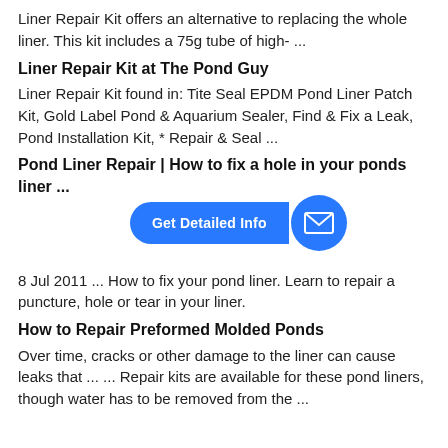Liner Repair Kit offers an alternative to replacing the whole liner. This kit includes a 75g tube of high- ...
Liner Repair Kit at The Pond Guy
Liner Repair Kit found in: Tite Seal EPDM Pond Liner Patch Kit, Gold Label Pond & Aquarium Sealer, Find & Fix a Leak, Pond Installation Kit, * Repair & Seal ...
Pond Liner Repair | How to fix a hole in your ponds liner ...
[Figure (infographic): Blue CTA button with arrow shape reading 'Get Detailed Info' and a blue circle with envelope/email icon]
8 Jul 2011 ... How to fix your pond liner. Learn to repair a puncture, hole or tear in your liner.
How to Repair Preformed Molded Ponds
Over time, cracks or other damage to the liner can cause leaks that ... ... Repair kits are available for these pond liners, though water has to be removed from the ...